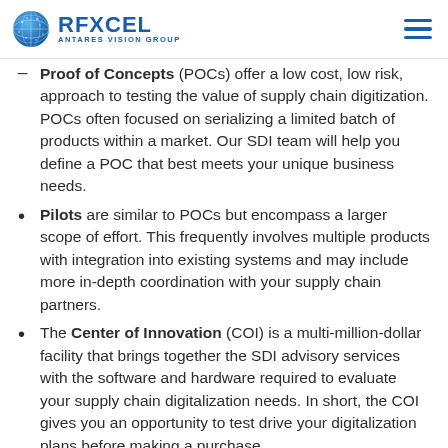RFXCEL ANTARES VISION GROUP
Proof of Concepts (POCs) offer a low cost, low risk, approach to testing the value of supply chain digitization. POCs often focused on serializing a limited batch of products within a market. Our SDI team will help you define a POC that best meets your unique business needs.
Pilots are similar to POCs but encompass a larger scope of effort. This frequently involves multiple products with integration into existing systems and may include more in-depth coordination with your supply chain partners.
The Center of Innovation (COI) is a multi-million-dollar facility that brings together the SDI advisory services with the software and hardware required to evaluate your supply chain digitalization needs. In short, the COI gives you an opportunity to test drive your digitalization plans before making a purchase.